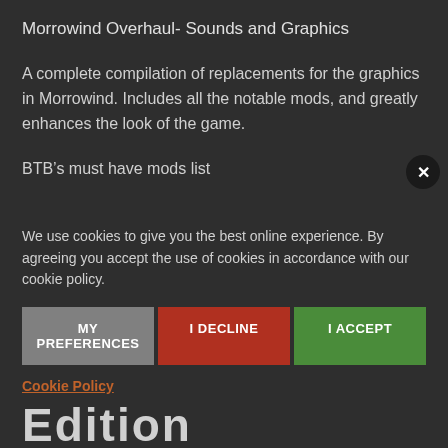Morrowind Overhaul- Sounds and Graphics
A complete compilation of replacements for the graphics in Morrowind. Includes all the notable mods, and greatly enhances the look of the game.
BTB’s must have mods list
Pluto’s Mod Recommendations to New Players
We use cookies to give you the best online experience. By agreeing you accept the use of cookies in accordance with our cookie policy.
MY PREFERENCES | I DECLINE | I ACCEPT
Cookie Policy
Edition